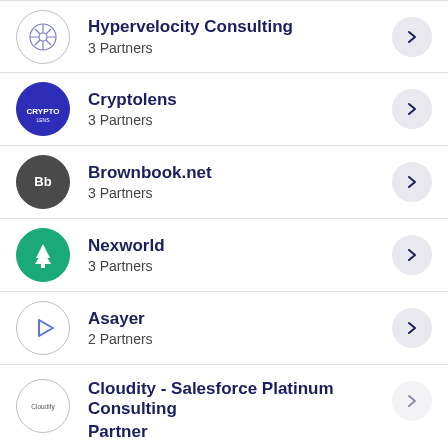Hypervelocity Consulting
3 Partners
Cryptolens
3 Partners
Brownbook.net
3 Partners
Nexworld
3 Partners
Asayer
2 Partners
Cloudity - Salesforce Platinum Consulting Partner